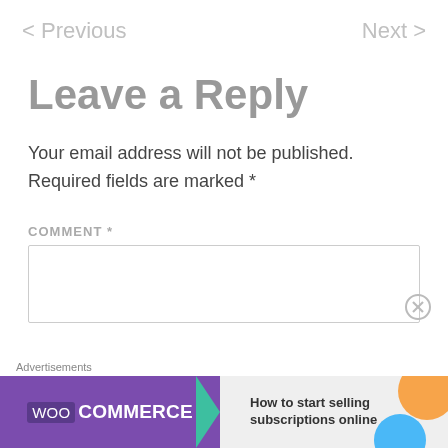< Previous    Next >
Leave a Reply
Your email address will not be published. Required fields are marked *
COMMENT *
[Figure (screenshot): Empty comment text area input box with close (X) button]
[Figure (infographic): WooCommerce advertisement banner: 'How to start selling subscriptions online']